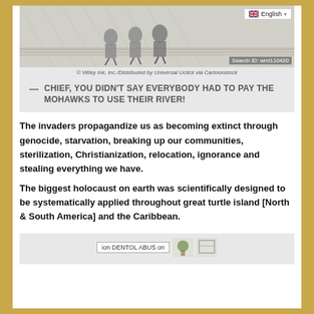[Figure (illustration): A cartoon sketch showing figures on what appears to be a dock or platform, with an English language selector badge and Search ID: wml110420 overlay. Copyright: © Wiley Ink, inc./Distributed by Universal Uclick via Cartoonstock]
— CHIEF, YOU DIDN'T SAY EVERYBODY HAD TO PAY THE MOHAWKS TO USE THEIR RIVER!
The invaders propagandize us as becoming extinct through genocide, starvation, breaking up our communities, sterilization, Christianization, relocation, ignorance and stealing everything we have.
The biggest holocaust on earth was scientifically designed to be systematically applied throughout great turtle island [North & South America] and the Caribbean.
[Figure (illustration): Partial view of another cartoon/illustration at the bottom of the page, showing a table or sign partially visible]